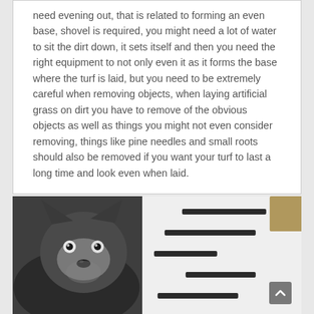need evening out, that is related to forming an even base, shovel is required, you might need a lot of water to sit the dirt down, it sets itself and then you need the right equipment to not only even it as it forms the base where the turf is laid, but you need to be extremely careful when removing objects, when laying artificial grass on dirt you have to remove of the obvious objects as well as things you might not even consider removing, things like pine needles and small roots should also be removed if you want your turf to last a long time and look even when laid.
[Figure (photo): Black and white photo of a Siberian Husky dog on the left side, with a white decorative pillow with black dashes/stripes on the right side. A scroll-to-top arrow button is visible in the bottom right corner.]